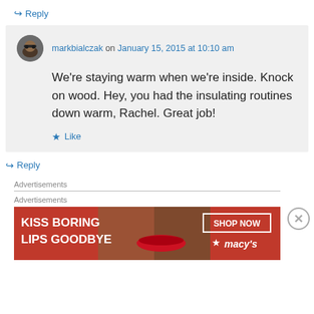↪ Reply
markbialczak on January 15, 2015 at 10:10 am
We're staying warm when we're inside. Knock on wood. Hey, you had the insulating routines down warm, Rachel. Great job!
★ Like
↪ Reply
Advertisements
Advertisements
[Figure (photo): Macy's advertisement banner: KISS BORING LIPS GOODBYE with SHOP NOW button and Macy's logo on red background with woman's face]